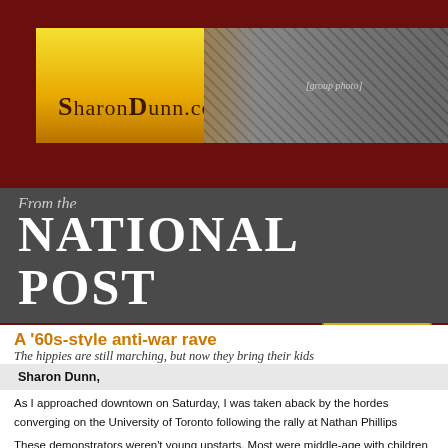[Figure (photo): SharonDunn.com website banner with yellow-gold gradient background, site name text on left, and group photo of several people on the right]
Articles
From the
NATIONAL POST
A '60s-style anti-war rave
The hippies are still marching, but now they bring their kids
Sharon Dunn, National Post
As I approached downtown on Saturday, I was taken aback by the hordes converging on the University of Toronto following the rally at Nathan Phillips Square protesting the United States going to war with Iraq.
These demonstrators weren't young upstarts. Most were middle-aged with children and dogs and placards, peacefully fighting the bitter co... There were young people, too, but there was no attitude, no malice, quiet concern. It certainly didn't seem like my idea of a demonstratio...